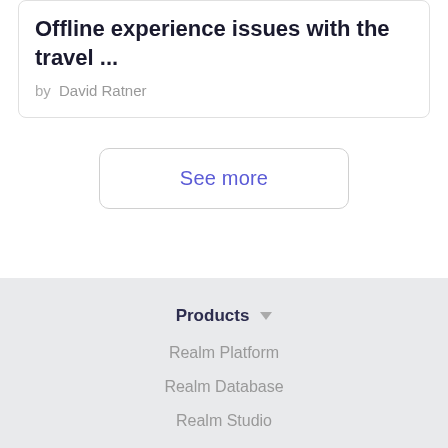Offline experience issues with the travel ...
by David Ratner
See more
Products
Realm Platform
Realm Database
Realm Studio